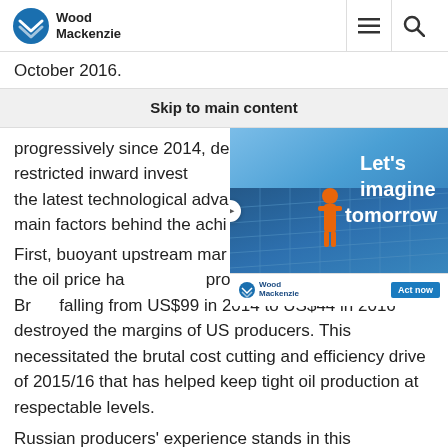Wood Mackenzie
October 2016.
Skip to main content
progressively since 2014, despite sanctions which have restricted inward investment and access to the latest technological advances, are among the main factors behind the achievements.
[Figure (photo): Wood Mackenzie advertisement with text 'Let's imagine tomorrow' showing a person in orange safety gear on solar panels, with Wood Mackenzie logo and 'Act now' button]
First, buoyant upstream margins and the peg of the rouble with the oil price has shielded Russian producers from the worst. Brent falling from US$99 in 2014 to US$44 in 2016 destroyed the margins of US producers. This necessitated the brutal cost cutting and efficiency drive of 2015/16 that has helped keep tight oil production at respectable levels.
Russian producers' experience stands in this